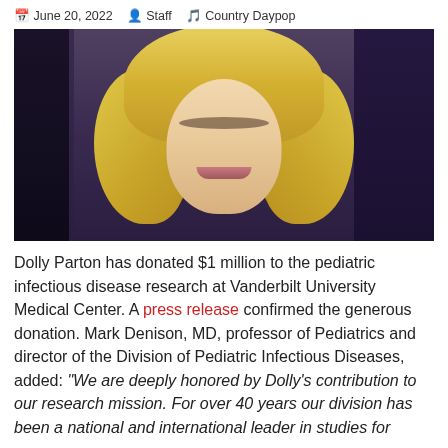June 20, 2022  Staff  Country Daypop
[Figure (photo): Photo of Dolly Parton, a woman with large curly blonde hair, smiling, against a dark purple background with other people partially visible]
Dolly Parton has donated $1 million to the pediatric infectious disease research at Vanderbilt University Medical Center. A press release confirmed the generous donation. Mark Denison, MD, professor of Pediatrics and director of the Division of Pediatric Infectious Diseases, added: "We are deeply honored by Dolly's contribution to our research mission. For over 40 years our division has been a national and international leader in studies for